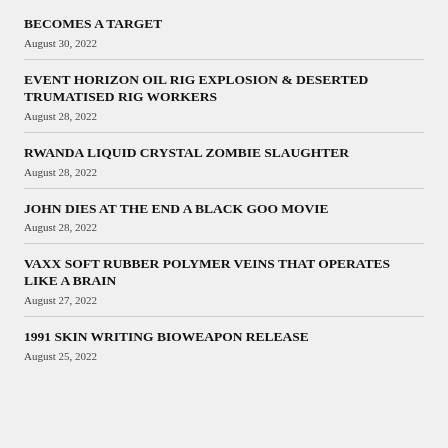BECOMES A TARGET
August 30, 2022
EVENT HORIZON OIL RIG EXPLOSION &amp; DESERTED TRUMATISED RIG WORKERS
August 28, 2022
RWANDA LIQUID CRYSTAL ZOMBIE SLAUGHTER
August 28, 2022
JOHN DIES AT THE END A BLACK GOO MOVIE
August 28, 2022
VAXX SOFT RUBBER POLYMER VEINS THAT OPERATES LIKE A BRAIN
August 27, 2022
1991 SKIN WRITING BIOWEAPON RELEASE
August 25, 2022